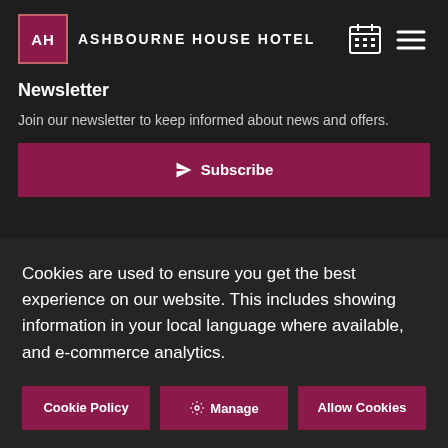AH Ashbourne House Hotel
Newsletter
Join our newsletter to keep informed about news and offers.
Subscribe
Cookies are used to ensure you get the best experience on our website. This includes showing information in your local language where available, and e-commerce analytics.
Cookie Policy | Manage | Allow Cookies